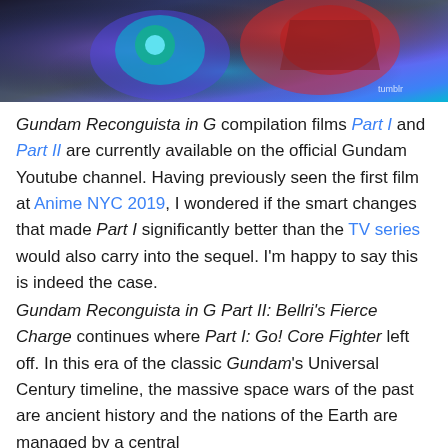[Figure (illustration): Anime-style mecha illustration showing colorful mechanical parts with blue, teal, red, and purple colors. Tumblr watermark visible in bottom right.]
Gundam Reconguista in G compilation films Part I and Part II are currently available on the official Gundam Youtube channel. Having previously seen the first film at Anime NYC 2019, I wondered if the smart changes that made Part I significantly better than the TV series would also carry into the sequel. I'm happy to say this is indeed the case.
Gundam Reconguista in G Part II: Bellri's Fierce Charge continues where Part I: Go! Core Fighter left off. In this era of the classic Gundam's Universal Century timeline, the massive space wars of the past are ancient history and the nations of the Earth are managed by a central